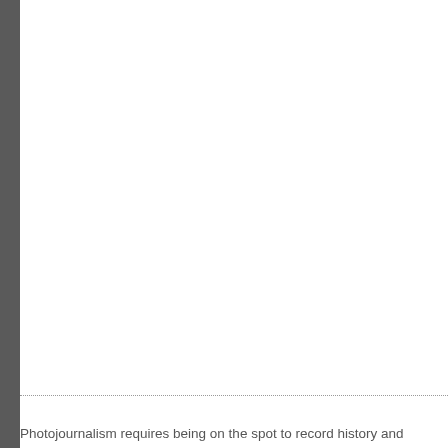[Figure (photo): Large white/blank area occupying the majority of the page, with a dark gray sidebar on the left edge.]
Photojournalism requires being on the spot to record history and